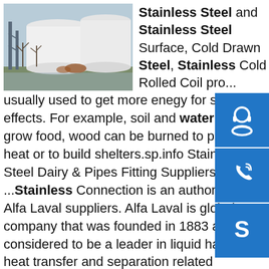[Figure (photo): Industrial storage tanks (silos) outdoors with bare trees in background]
Stainless Steel and Stainless Steel Surface, Cold Drawn Steel, Stainless Cold Rolled Coil pro... usually used to get more enegy for specific effects. For example, soil and water can grow food, wood can be burned to provide heat or to build shelters.sp.info Stainless Steel Dairy & Pipes Fitting Suppliers | Alfa ...Stainless Connection is an authorised Alfa Laval suppliers. Alfa Laval is global company that was founded in 1883 and considered to be a leader in liquid handling, heat transfer and separation related products. We stock a wide range of Alfa Laval products, including stainless steel piping, balustrades, fittings, pumps and valves.sp.info 304 vs 316 Stainless Steel | Metal Casting BlogFeb 14, 2020 · The two most common stainless steel grades are 304 and 316. The key difference is the addition of molybdenum, an alloy which drastically enhances corrosion resistance, especially for more saline or chloride-exposed environments. 316
[Figure (illustration): Blue icon box with headset/support icon]
[Figure (illustration): Blue icon box with phone/call icon]
[Figure (illustration): Blue icon box with Skype icon]